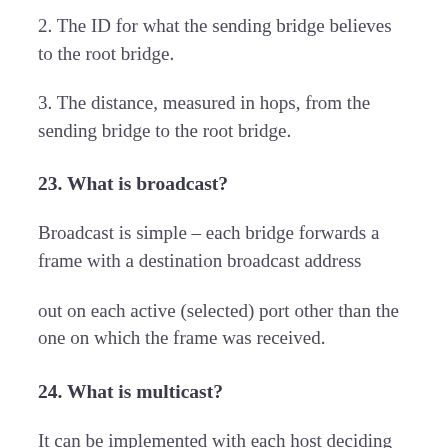2. The ID for what the sending bridge believes to the root bridge.
3. The distance, measured in hops, from the sending bridge to the root bridge.
23. What is broadcast?
Broadcast is simple – each bridge forwards a frame with a destination broadcast address
out on each active (selected) port other than the one on which the frame was received.
24. What is multicast?
It can be implemented with each host deciding